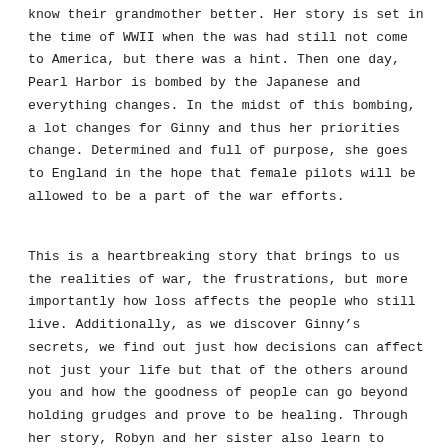know their grandmother better. Her story is set in the time of WWII when the was had still not come to America, but there was a hint. Then one day, Pearl Harbor is bombed by the Japanese and everything changes. In the midst of this bombing, a lot changes for Ginny and thus her priorities change. Determined and full of purpose, she goes to England in the hope that female pilots will be allowed to be a part of the war efforts.
This is a heartbreaking story that brings to us the realities of war, the frustrations, but more importantly how loss affects the people who still live. Additionally, as we discover Ginny’s secrets, we find out just how decisions can affect not just your life but that of the others around you and how the goodness of people can go beyond holding grudges and prove to be healing. Through her story, Robyn and her sister also learn to accept who they are, accept each other and form better bonds with each other and those around them.